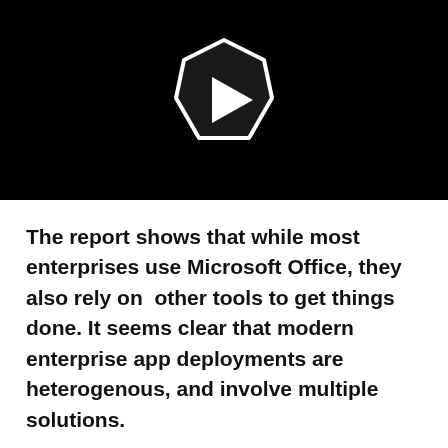[Figure (other): Black video thumbnail with a pentagon-shaped play button icon in white outline, centered on the black background.]
The report shows that while most enterprises use Microsoft Office, they also rely on other tools to get things done. It seems clear that modern enterprise app deployments are heterogenous, and involve multiple solutions.
Content Continues Below